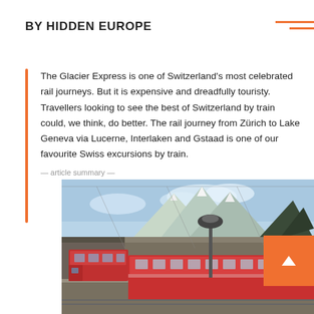BY HIDDEN EUROPE
The Glacier Express is one of Switzerland's most celebrated rail journeys. But it is expensive and dreadfully touristy. Travellers looking to see the best of Switzerland by train could, we think, do better. The rail journey from Zürich to Lake Geneva via Lucerne, Interlaken and Gstaad is one of our favourite Swiss excursions by train.
— article summary —
[Figure (photo): A red Swiss train at a mountain railway station with snowy peaks and forest in the background, under a blue sky. Train cars are visible on the platform.]